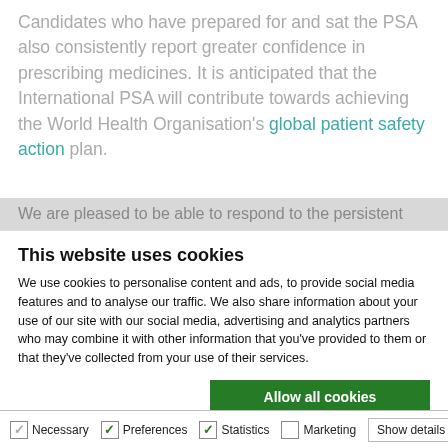Candidates who have prepared for and sat the PSA also consistently report greater confidence in prescribing medicines. It is anticipated that the International PSA will contribute towards achieving the World Health Organisation's global patient safety action plan.
We are pleased to be able to respond to the persistent
This website uses cookies
We use cookies to personalise content and ads, to provide social media features and to analyse our traffic. We also share information about your use of our site with our social media, advertising and analytics partners who may combine it with other information that you've provided to them or that they've collected from your use of their services.
Allow all cookies
Allow selection
Use necessary cookies only
Necessary | Preferences | Statistics | Marketing | Show details